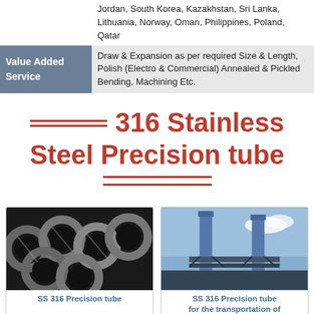|  | Jordan, South Korea, Kazakhstan, Sri Lanka, Lithuania, Norway, Oman, Philippines, Poland, Qatar |
| Value Added Service | Draw & Expansion as per required Size & Length, Polish (Electro & Commercial) Annealed & Pickled Bending, Machining Etc. |
316 Stainless Steel Precision tube
[Figure (photo): Photo of SS 316 Precision tube — multiple stainless steel tubes bundled together]
SS 316 Precision tube
[Figure (photo): Photo of SS 316 Precision tube for the transportation of gas — industrial facility with tall blue chimneys and infrastructure]
SS 316 Precision tube for the transportation of